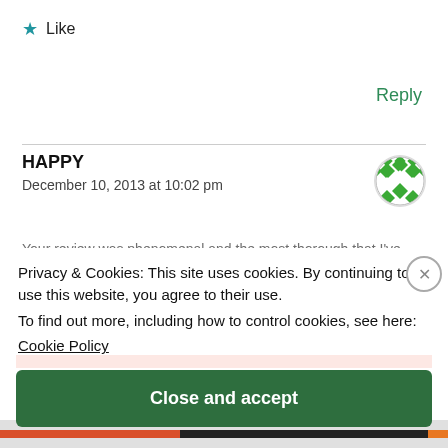★ Like
Reply
HAPPY
December 10, 2013 at 10:02 pm
[Figure (illustration): Green and white checkered circular avatar icon]
Your review was phenomenal and the most thorough that I've found
Privacy & Cookies: This site uses cookies. By continuing to use this website, you agree to their use.
To find out more, including how to control cookies, see here:
Cookie Policy
Close and accept